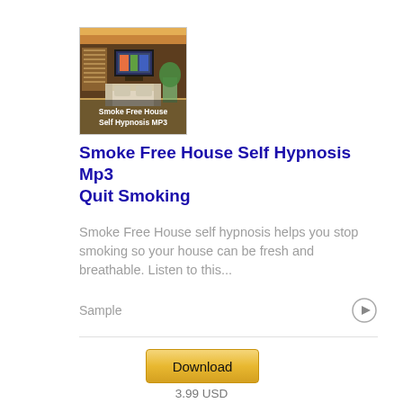[Figure (photo): Product image for Smoke Free House Self Hypnosis MP3 showing a modern living room interior with text overlay reading 'Smoke Free House Self Hypnosis MP3']
Smoke Free House Self Hypnosis Mp3 Quit Smoking
Smoke Free House self hypnosis helps you stop smoking so your house can be fresh and breathable. Listen to this...
Sample
Download
3.99 USD